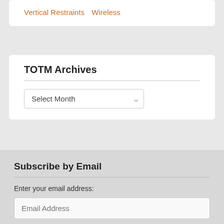Vertical Restraints   Wireless
TOTM Archives
Select Month
Subscribe by Email
Enter your email address:
Email Address
Sign me up!